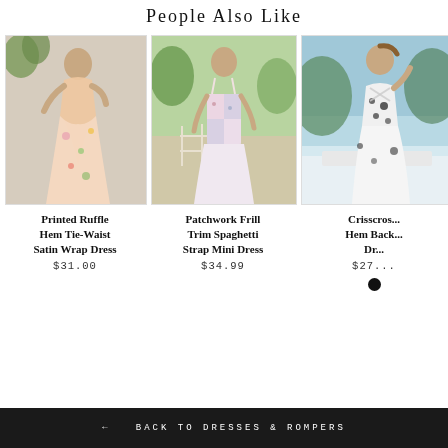People Also Like
[Figure (photo): Floral printed ruffle hem tie-waist satin wrap dress on a model outdoors]
Printed Ruffle Hem Tie-Waist Satin Wrap Dress
$31.00
[Figure (photo): Patchwork frill trim spaghetti strap mini dress on a model outdoors]
Patchwork Frill Trim Spaghetti Strap Mini Dress
$34.99
[Figure (photo): Crisscross hem back dress on a model outdoors near water]
Crisscross Hem Back Dr...
$27...
← BACK TO DRESSES & ROMPERS